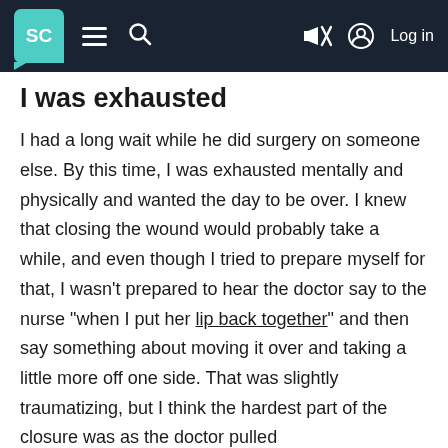SC [navigation bar with hamburger menu, search, mute icon, and Log in]
I was exhausted
I had a long wait while he did surgery on someone else. By this time, I was exhausted mentally and physically and wanted the day to be over. I knew that closing the wound would probably take a while, and even though I tried to prepare myself for that, I wasn't prepared to hear the doctor say to the nurse “when I put her lip back together” and then say something about moving it over and taking a little more off one side. That was slightly traumatizing, but I think the hardest part of the closure was as the doctor pulled